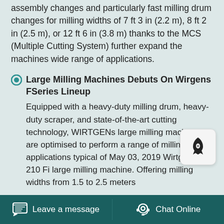assembly changes and particularly fast milling drum changes for milling widths of 7 ft 3 in (2.2 m), 8 ft 2 in (2.5 m), or 12 ft 6 in (3.8 m) thanks to the MCS (Multiple Cutting System) further expand the machines wide range of applications.
Large Milling Machines Debuts On Wirgens FSeries Lineup
Equipped with a heavy-duty milling drum, heavy-duty scraper, and state-of-the-art cutting technology, WIRTGENs large milling machines are optimised to perform a range of milling applications typical of May 03, 2019 Wirtgen W 210 Fi large milling machine. Offering milling widths from 1.5 to 2.5 meters
Leave a message  |  Chat Online